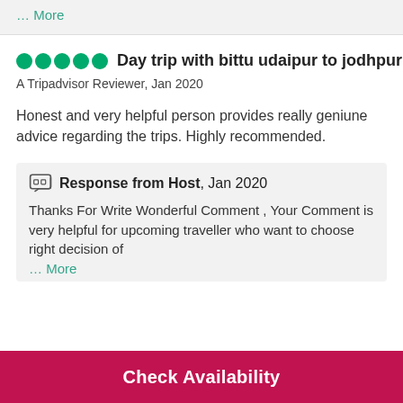… More
Day trip with bittu udaipur to jodhpur
A Tripadvisor Reviewer, Jan 2020
Honest and very helpful person provides really geniune advice regarding the trips. Highly recommended.
Response from Host, Jan 2020
Thanks For Write Wonderful Comment , Your Comment is very helpful for upcoming traveller who want to choose right decision of
… More
Check Availability